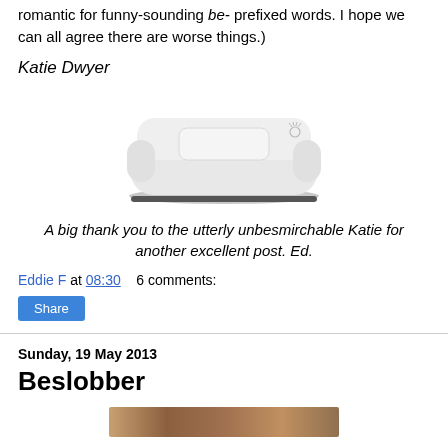romantic for funny-sounding be- prefixed words. I hope we can all agree there are worse things.)
Katie Dwyer
[Figure (photo): A modern white sofa with rounded arms and a rectangular cushion, shown on a white background. A small decorative print appears on the right side of the backrest.]
A big thank you to the utterly unbesmirchable Katie for another excellent post. Ed.
Eddie F at 08:30   6 comments:
Share
Sunday, 19 May 2013
Beslobber
[Figure (photo): Partial image strip at the bottom of the page showing what appears to be a colourful image, partially visible.]